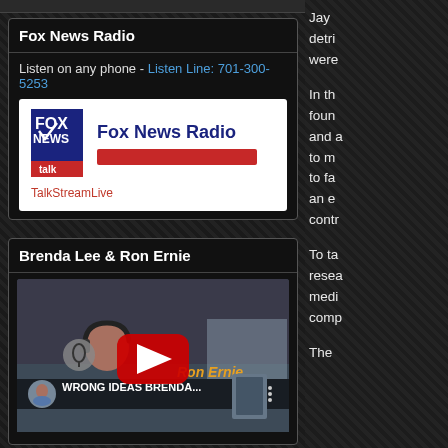Fox News Radio
Listen on any phone - Listen Line: 701-300-5253
[Figure (screenshot): Fox News Radio embedded player widget from TalkStreamLive, showing the Fox News Talk logo on the left and a red audio progress bar, with link text 'TalkStreamLive' below.]
Brenda Lee & Ron Ernie
[Figure (screenshot): YouTube video thumbnail for 'WRONG IDEAS BRENDA...' featuring Ron Ernie. Shows a man with headphones at a microphone, with the orange 'Ron Ernie' text overlay and a YouTube play button in the center.]
Jay detri were In the foun and a to m to fa an e cont To ta resea medi comp The